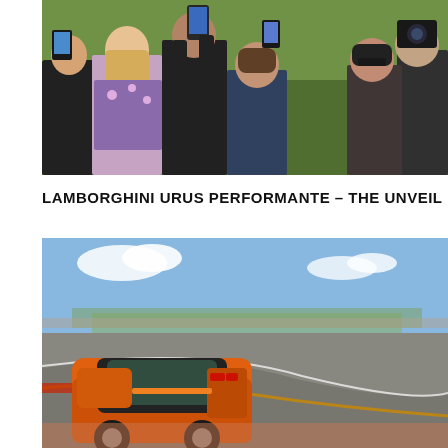[Figure (photo): Crowd of people photographing something with their smartphones and cameras, viewed from behind, outdoors on green grass background]
LAMBORGHINI URUS PERFORMANTE – THE UNVEIL
[Figure (photo): Orange Lamborghini Urus Performante SUV on a racing circuit track, sunny day with blue sky, seen from an elevated angle showing the car on the tarmac with a curve in the road]